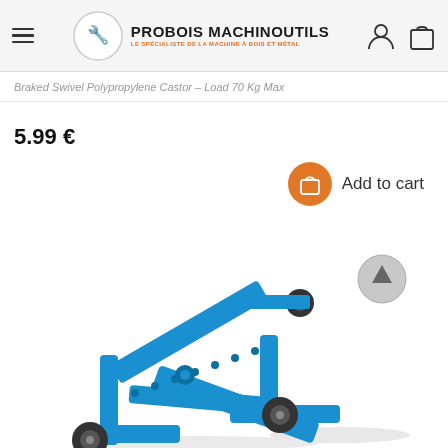PROBOIS MACHINOUTILS - LE SPÉCIALISTE DE LA MACHINE À BOIS ET MÉTAL
Braked Swivel Polypropylene Castor – Load 70 Kg Max
5.99 €
Add to cart
[Figure (photo): Blue wheeled scissor-style machine dolly/cart with black castors, shown at an angle]